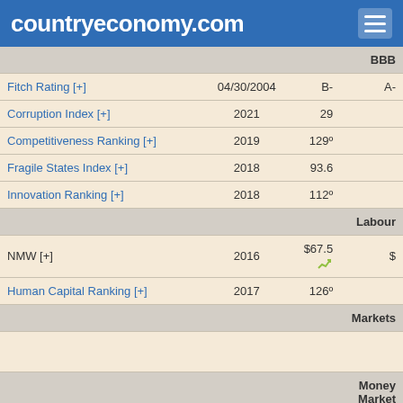countryeconomy.com
| Indicator | Year | Value | Extra |
| --- | --- | --- | --- |
|  |  |  | BBB |
| Fitch Rating [+] | 04/30/2004 | B- | A- |
| Corruption Index [+] | 2021 | 29 |  |
| Competitiveness Ranking [+] | 2019 | 129º |  |
| Fragile States Index [+] | 2018 | 93.6 |  |
| Innovation Ranking [+] | 2018 | 112º |  |
|  |  |  | Labour |
| NMW [+] | 2016 | $67.5 | $ |
| Human Capital Ranking [+] | 2017 | 126º |  |
|  |  |  | Markets |
|  |  |  |  |
|  |  |  | Money Market |
|  |  |  |  |
|  |  |  | Business |
| Doing Business [+] | 2019 | 145º |  |